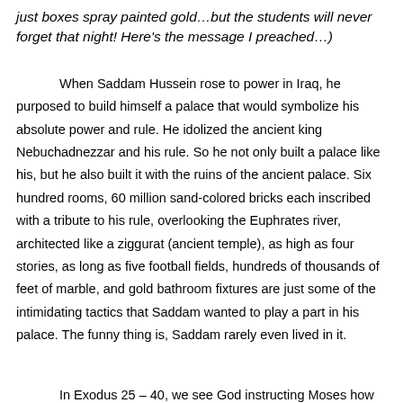just boxes spray painted gold…but the students will never forget that night!  Here's the message I preached…)
When Saddam Hussein rose to power in Iraq, he purposed to build himself a palace that would symbolize his absolute power and rule.  He idolized the ancient king Nebuchadnezzar and his rule.  So he not only built a palace like his, but he also built it with the ruins of the ancient palace.  Six hundred rooms, 60 million sand-colored bricks each inscribed with a tribute to his rule, overlooking the Euphrates river, architected like a ziggurat (ancient temple), as high as four stories, as long as five football fields, hundreds of thousands of feet of marble, and gold bathroom fixtures are just some of the intimidating tactics that Saddam wanted to play a part in his palace.  The funny thing is, Saddam rarely even lived in it.
In Exodus 25 – 40, we see God instructing Moses how to build a